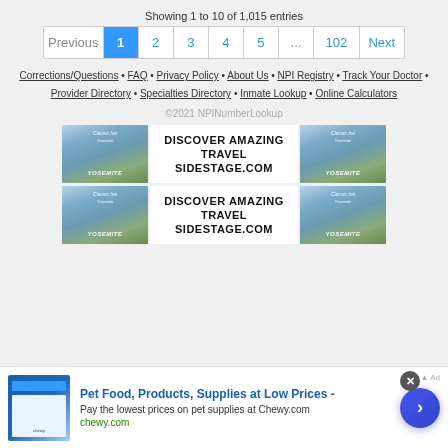Showing 1 to 10 of 1,015 entries
Previous | 1 | 2 | 3 | 4 | 5 | ... | 102 | Next
Corrections/Questions • FAQ • Privacy Policy • About Us • NPI Registry • Track Your Doctor • Provider Directory • Specialties Directory • Inmate Lookup • Online Calculators
©2021 NPINumberLookup
[Figure (infographic): Two rows of travel advertisement banners for sidestage.com showing Yosemite imagery with text DISCOVER AMAZING TRAVEL SIDESTAGE.COM]
[Figure (infographic): Bottom banner ad for Chewy.com: Pet Food, Products, Supplies at Low Prices - Pay the lowest prices on pet supplies at Chewy.com, chewy.com, with close button and navigation arrow]